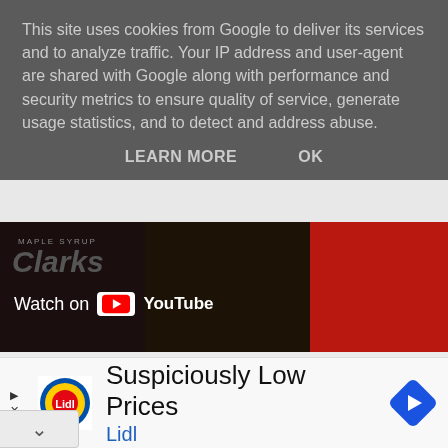This site uses cookies from Google to deliver its services and to analyze traffic. Your IP address and user-agent are shared with Google along with performance and security metrics to ensure quality of service, generate usage statistics, and to detect and address abuse.
LEARN MORE    OK
[Figure (screenshot): YouTube video thumbnail showing Clarks Maple Syrup bottles with 'Watch on YouTube' overlay and Clarks branding visible on red labels]
How to enter
Entry via blog comment is mandatory if you don't comment then you haven't entered.
All other entry methods are optional but they will increase chances of winning.
[Figure (infographic): Lidl advertisement banner: 'Suspiciously Low Prices' with Lidl logo and navigation icon]